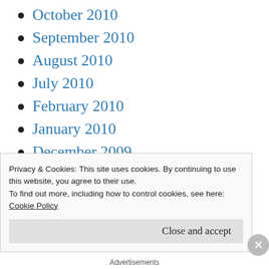October 2010
September 2010
August 2010
July 2010
February 2010
January 2010
December 2009
November 2009
October 2009
August 2009
Privacy & Cookies: This site uses cookies. By continuing to use this website, you agree to their use.
To find out more, including how to control cookies, see here: Cookie Policy
Advertisements